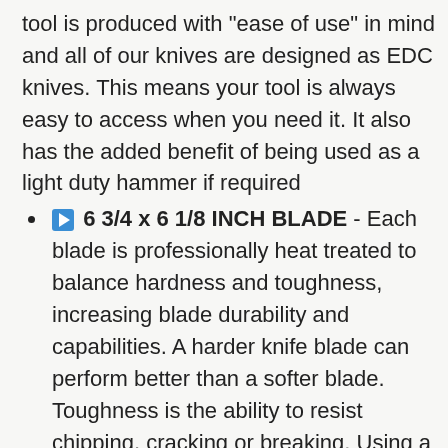tool is produced with "ease of use" in mind and all of our knives are designed as EDC knives. This means your tool is always easy to access when you need it. It also has the added benefit of being used as a light duty hammer if required
▶ 6 3/4 x 6 1/8 INCH BLADE - Each blade is professionally heat treated to balance hardness and toughness, increasing blade durability and capabilities. A harder knife blade can perform better than a softer blade. Toughness is the ability to resist chipping, cracking or breaking. Using a very hard blade without toughness, such as a blade made from glass, will be very easy to break. This is why balancing hardness and toughness is so important and why we heat treat every single blade
▶ 3cr13 STAINLESS STEEL BLADE - Excellent Balance of Hardness and Toughness. Provides Razor Sharp Cutting Performance, High Durability